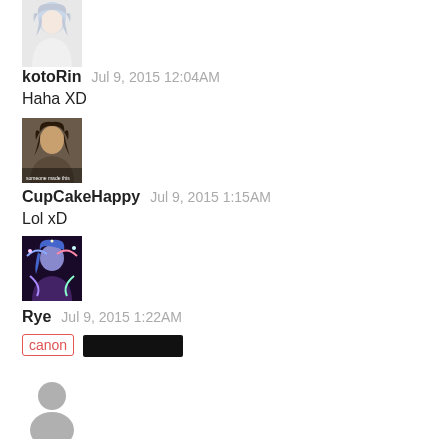[Figure (illustration): Anime-style character avatar (white/silver hair, white dress), user kotoRin]
kotoRin   Jul 9, 2015 12:04AM
Haha XD
[Figure (photo): Real person photo avatar for CupCakeHappy]
CupCakeHappy   Jul 9, 2015 1:15AM
Lol xD
[Figure (illustration): Colorful anime/game character avatar for Rye]
Rye   Jul 9, 2015 1:22AM
canon [redacted]
[Figure (illustration): Generic grey silhouette user avatar at bottom]